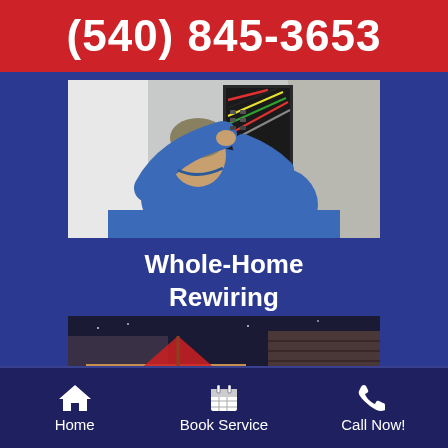(540) 845-3653
[Figure (photo): An electrician in a blue polo shirt working on a home electrical panel/fuse box, viewed from behind.]
Whole-Home Rewiring
[Figure (photo): A well-lit backyard deck at night with warm lighting on the steps and railings, showing outdoor electrical lighting installation.]
Home  Book Service  Call Now!